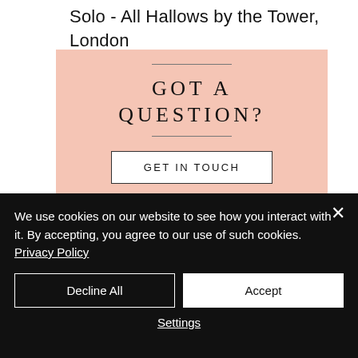Solo - All Hallows by the Tower, London
GOT A QUESTION?
GET IN TOUCH
[Figure (infographic): Three social media icons (Facebook, Twitter, Instagram) on a dark background]
We use cookies on our website to see how you interact with it. By accepting, you agree to our use of such cookies. Privacy Policy
Decline All
Accept
Settings